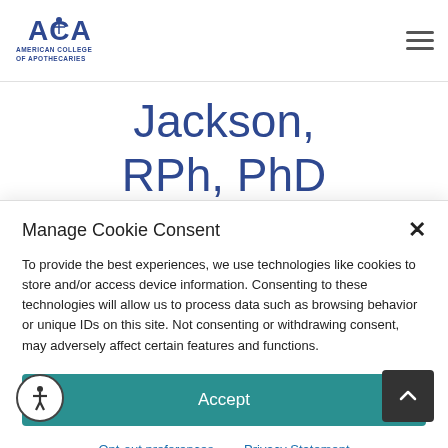American College of Apothecaries
Jackson, RPh, PhD (HC)
Manage Cookie Consent
To provide the best experiences, we use technologies like cookies to store and/or access device information. Consenting to these technologies will allow us to process data such as browsing behavior or unique IDs on this site. Not consenting or withdrawing consent, may adversely affect certain features and functions.
Accept
Opt-out preferences   Privacy Statement